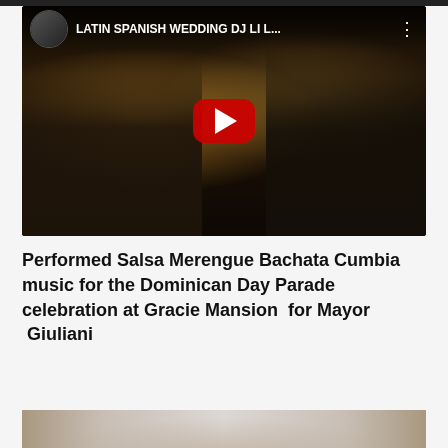[Figure (screenshot): YouTube video thumbnail showing people dancing at a Latin wedding event, with the video title 'LATIN SPANISH WEDDING DJ LI L...' visible in the top bar along with a channel avatar and options dots. A red YouTube play button is centered on the image.]
Performed Salsa Merengue Bachata Cumbia music for the Dominican Day Parade celebration at Gracie Mansion  for Mayor  Giuliani
[Figure (photo): Partial bottom image showing the top edge of another photo, appears to be another event or performance scene with light-colored background.]